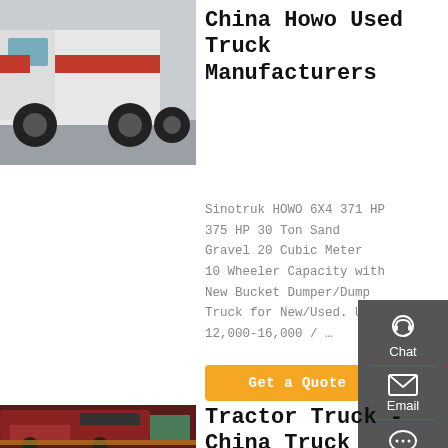[Figure (photo): Photo of a white and red HOWO heavy truck, rear/side view in a yard]
China Howo Used Truck Manufacturers
Sinotruk HOWO 6X4 371 HP 375 HP 30 Ton Sand Gravel 20 Cubic Meters 10 Wheeler Capacity with New Bucket Dumper/Dump Truck for New/Used. US $12,000-16,000 / …
[Figure (other): Orange 'Get a Quote' button]
[Figure (other): Dark grey sidebar with Chat, Email, Contact, Top icons]
[Figure (photo): Photo of a red tractor/dump truck in a facility]
Tractor Truck - China Truck